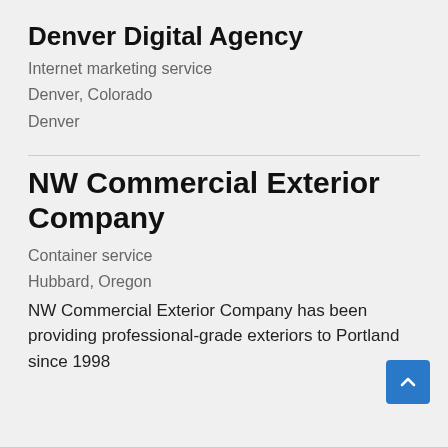Denver Digital Agency
Internet marketing service
Denver, Colorado
Denver
NW Commercial Exterior Company
Container service
Hubbard, Oregon
NW Commercial Exterior Company has been providing professional-grade exteriors to Portland since 1998